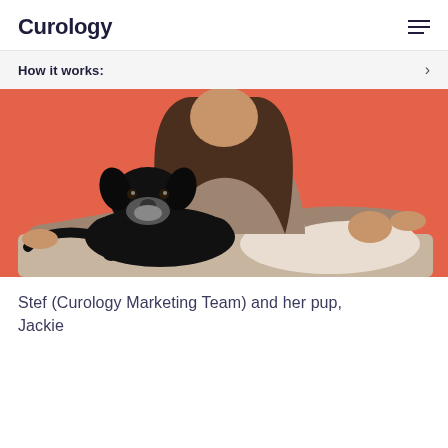Curology
How it works:
[Figure (photo): A woman with long brown hair wearing a tan/beige sweater and white pants sits on a cushioned surface, posing with a black dog (Jackie) against a coral/salmon red background.]
Stef (Curology Marketing Team) and her pup, Jackie